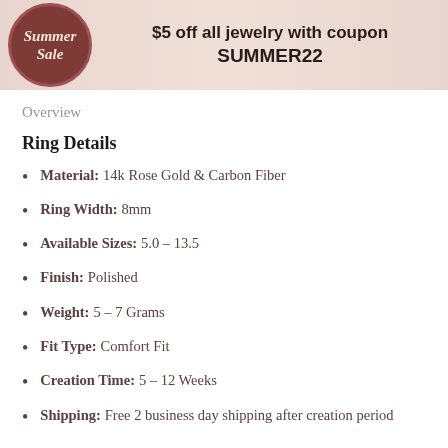[Figure (infographic): Summer Sale promotional banner with circular badge and coupon code SUMMER22]
Overview
Ring Details
Material: 14k Rose Gold & Carbon Fiber
Ring Width: 8mm
Available Sizes: 5.0 – 13.5
Finish: Polished
Weight: 5 – 7 Grams
Fit Type: Comfort Fit
Creation Time: 5 – 12 Weeks
Shipping: Free 2 business day shipping after creation period